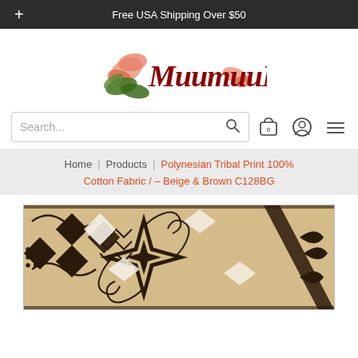Free USA Shipping Over $50
[Figure (logo): MuumuuMall floral script logo with tropical flowers and leaves]
[Figure (screenshot): Search bar with search icon, cart icon showing 0, user account icon, and hamburger menu icon]
Home | Products | Polynesian Tribal Print 100% Cotton Fabric / - Beige & Brown C128BG
[Figure (photo): Polynesian tribal print fabric in beige, white, and dark brown geometric and swirl patterns]